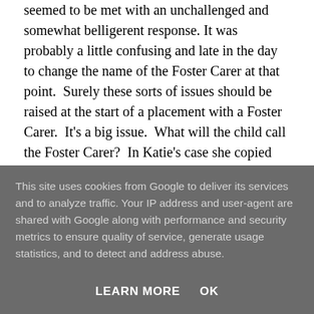seemed to be met with an unchallenged and somewhat belligerent response. It was probably a little confusing and late in the day to change the name of the Foster Carer at that point.  Surely these sorts of issues should be raised at the start of a placement with a Foster Carer.  It's a big issue.  What will the child call the Foster Carer?  In Katie's case she copied the word used by the other children in the house "Grandma".  Most of the children she knew in her Foster Carer placement were her Foster Carer's grandchildren so she used the same
This site uses cookies from Google to deliver its services and to analyze traffic. Your IP address and user-agent are shared with Google along with performance and security metrics to ensure quality of service, generate usage statistics, and to detect and address abuse.
LEARN MORE    OK